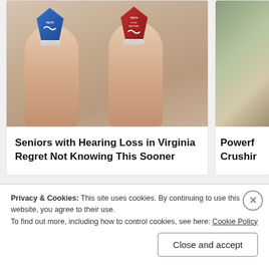[Figure (photo): Two small hearing aids (one blue, one red, both branded Signia) being held between fingers, shown very small sized]
Seniors with Hearing Loss in Virginia Regret Not Knowing This Sooner
[Figure (photo): Partial view of a second card image, appears to show outdoor or nature scene]
Powerf Crushir
Privacy & Cookies: This site uses cookies. By continuing to use this website, you agree to their use.
To find out more, including how to control cookies, see here: Cookie Policy
Close and accept